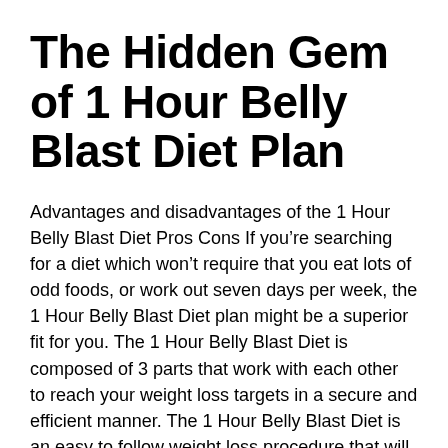The Hidden Gem of 1 Hour Belly Blast Diet Plan
Advantages and disadvantages of the 1 Hour Belly Blast Diet Pros Cons If you’re searching for a diet which won’t require that you eat lots of odd foods, or work out seven days per week, the 1 Hour Belly Blast Diet plan might be a superior fit for you. The 1 Hour Belly Blast Diet is composed of 3 parts that work with each other to reach your weight loss targets in a secure and efficient manner. The 1 Hour Belly Blast Diet is an easy to follow weight loss procedure that will definitely teach you the way to practice 1 hour kind of diet so your body can burn more